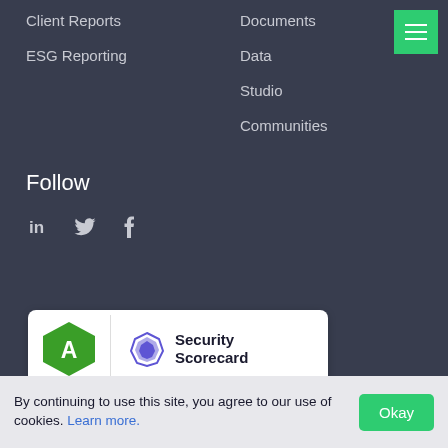Client Reports
ESG Reporting
Documents
Data
Studio
Communities
Follow
[Figure (infographic): Social media icons: LinkedIn (in), Twitter (bird), Facebook (f)]
[Figure (infographic): Security Scorecard badge showing grade A (green hexagon) and Security Scorecard logo with Visit Our Scorecard link]
By continuing to use this site, you agree to our use of cookies. Learn more.